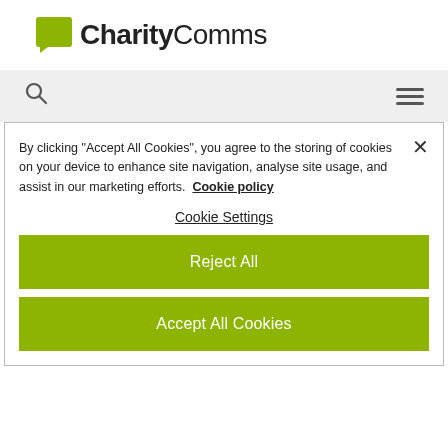[Figure (logo): CharityComms logo with green speech bubble icon and bold text]
[Figure (screenshot): Navigation bar with search icon and hamburger menu icon on grey background]
By clicking "Accept All Cookies", you agree to the storing of cookies on your device to enhance site navigation, analyse site usage, and assist in our marketing efforts. Cookie policy
Cookie Settings
Reject All
Accept All Cookies